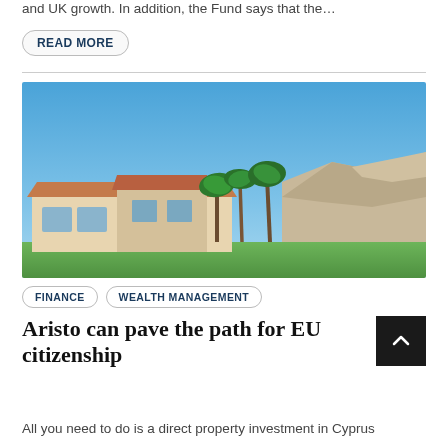and UK growth. In addition, the Fund says that the…
READ MORE
[Figure (photo): Luxury Mediterranean villa with palm trees and rocky hills in the background under a bright blue sky, likely in Cyprus]
FINANCE
WEALTH MANAGEMENT
Aristo can pave the path for EU citizenship
All you need to do is a direct property investment in Cyprus